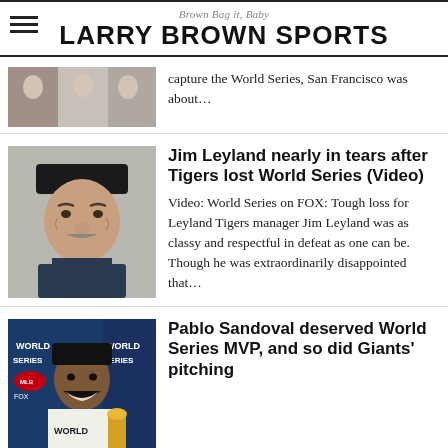Brown Bag it, Baby — LARRY BROWN SPORTS
[Figure (photo): Partial photo of baseball players, cropped at top]
capture the World Series, San Francisco was about…
[Figure (photo): Jim Leyland, older man wearing black baseball cap, looking serious]
Jim Leyland nearly in tears after Tigers lost World Series (Video)
Video: World Series on FOX: Tough loss for Leyland Tigers manager Jim Leyland was as classy and respectful in defeat as one can be. Though he was extraordinarily disappointed that…
[Figure (photo): Pablo Sandoval smiling, wearing World Series gear, with World Series banners behind him]
Pablo Sandoval deserved World Series MVP, and so did Giants' pitching